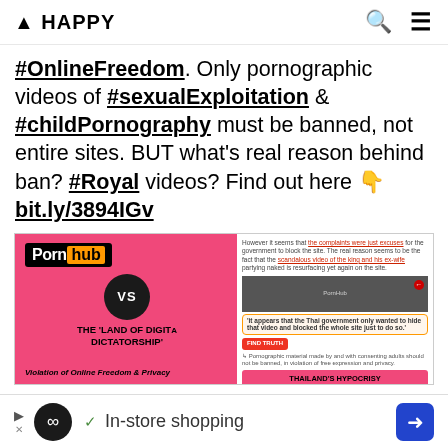▲ HAPPY
#OnlineFreedom. Only pornographic videos of #sexualExploitation & #childPornography must be banned, not entire sites. BUT what's real reason behind ban? #Royal videos? Find out here 👉 bit.ly/3894IGv
[Figure (infographic): Infographic showing Pornhub vs 'The Land of Digital Dictatorship' on the left pink panel with VS circle, and on the right panel text about Thailand's hypocrisy regarding online freedom, with a screenshot of a video, orange and red callout bubbles, and a pink footer saying 'THAILAND'S HYPOCRISY WHEN TALKING ABOUT SEX']
In-store shopping (advertisement bar)